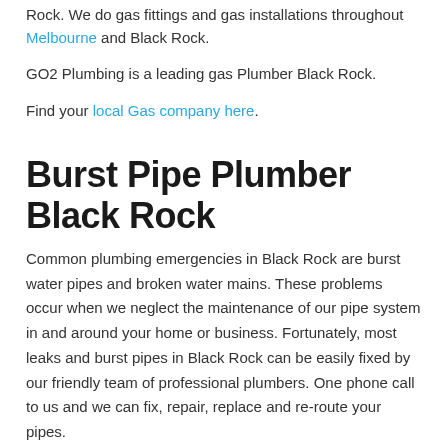Rock. We do gas fittings and gas installations throughout Melbourne and Black Rock.
GO2 Plumbing is a leading gas Plumber Black Rock.
Find your local Gas company here.
Burst Pipe Plumber Black Rock
Common plumbing emergencies in Black Rock are burst water pipes and broken water mains. These problems occur when we neglect the maintenance of our pipe system in and around your home or business. Fortunately, most leaks and burst pipes in Black Rock can be easily fixed by our friendly team of professional plumbers. One phone call to us and we can fix, repair, replace and re-route your pipes.
Call us now on 1800 807 850.
Your Plumber Black Rock specialising...